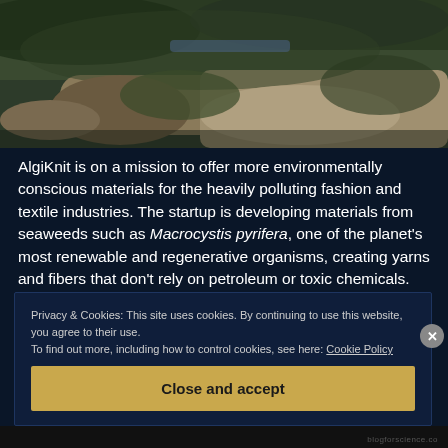[Figure (photo): Aerial or close-up photo of seaweed/algae on rocks near water, dark green mossy textures with sandy/rocky terrain]
AlgiKnit is on a mission to offer more environmentally conscious materials for the heavily polluting fashion and textile industries. The startup is developing materials from seaweeds such as Macrocystis pyrifera, one of the planet's most renewable and regenerative organisms, creating yarns and fibers that don't rely on petroleum or toxic chemicals. Aleka Gaciewshi, Aaron
Privacy & Cookies: This site uses cookies. By continuing to use this website, you agree to their use.
To find out more, including how to control cookies, see here: Cookie Policy
Close and accept